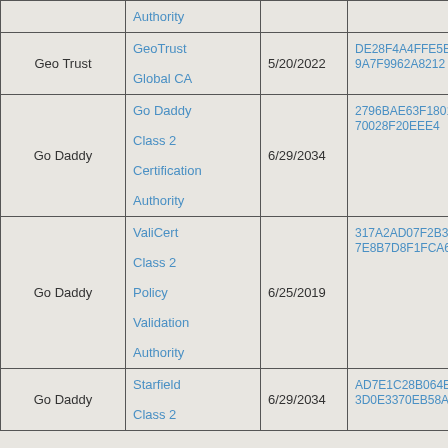| Organization | Name | Expiry | Fingerprint (SHA-1) | Algorithm |
| --- | --- | --- | --- | --- |
|  | Authority |  |  |  |
| Geo Trust | GeoTrust Global CA | 5/20/2022 | DE28F4A4FFE5B92FA3C503D1A349A7F9962A8212 | sha1 |
| Go Daddy | Go Daddy Class 2 Certification Authority | 6/29/2034 | 2796BAE63F1801E277261BA0D77770028F20EEE4 | sha1 |
| Go Daddy | ValiCert Class 2 Policy Validation Authority | 6/25/2019 | 317A2AD07F2B335EF5A1C34E4B57E8B7D8F1FCA6 | sha1 |
| Go Daddy | Starfield Class 2 | 6/29/2034 | AD7E1C28B064EF8F60034B2814C3D0E3370EB58A | sha1 |